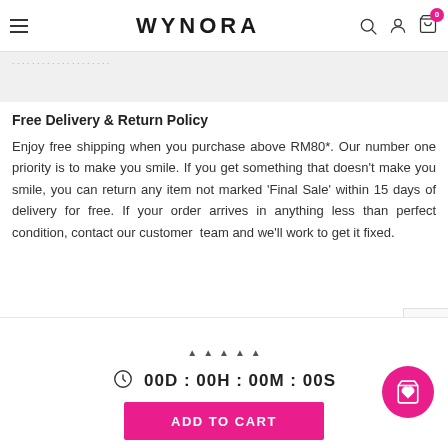WYNORA — navigation bar with hamburger, logo, search, account, cart (0)
Free Delivery & Return Policy
Enjoy free shipping when you purchase above RM80*. Our number one priority is to make you smile. If you get something that doesn't make you smile, you can return any item not marked 'Final Sale' within 15 days of delivery for free. If your order arrives in anything less than perfect condition, contact our customer team and we'll work to get it fixed.
00D : 00H : 00M : 00S
ADD TO CART